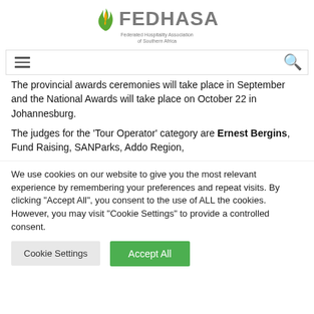[Figure (logo): FEDHASA logo with flame icon and tagline 'Federated Hospitality Association of Southern Africa']
The provincial awards ceremonies will take place in September and the National Awards will take place on October 22 in Johannesburg.
The judges for the 'Tour Operator' category are Ernest Bergins, Fund Raising, SANParks, Addo Region,
We use cookies on our website to give you the most relevant experience by remembering your preferences and repeat visits. By clicking "Accept All", you consent to the use of ALL the cookies. However, you may visit "Cookie Settings" to provide a controlled consent.